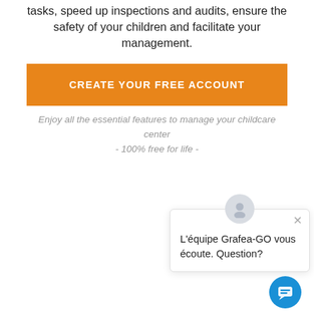tasks, speed up inspections and audits, ensure the safety of your children and facilitate your management.
[Figure (other): Orange CTA button labeled CREATE YOUR FREE ACCOUNT]
Enjoy all the essential features to manage your childcare center
- 100% free for life -
[Figure (other): Chat popup widget with avatar, close button, and text: L'équipe Grafea-GO vous écoute. Question? with a blue chat FAB button]